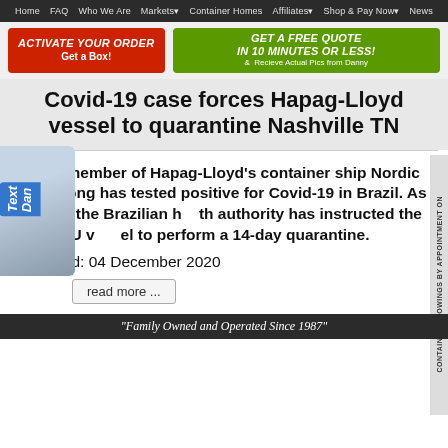Home  FAQ  Who We Are  Markets  Container Homes  Affiliates  Shop & Pay Now  News
[Figure (infographic): Red button: ACTIVATE YOUR ORDER Get a Box!]
[Figure (infographic): Green button: GET A FREE QUOTE IN 10 MINUTES OR LESS! & Recieve Actual Pics from Danny]
Covid-19 case forces Hapag-Lloyd vessel to quarantine Nashville TN
A crew member of Hapag-Lloyd's container ship Nordic Hong Kong has tested positive for Covid-19 in Brazil. As a result, the Brazilian health authority has instructed the 3,400TEU vessel to perform a 14-day quarantine.
Published: 04 December 2020
read more ...
"Family Owned and Operated Since 1987"